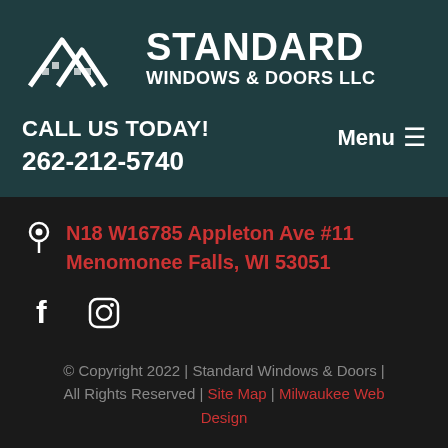[Figure (logo): Standard Windows & Doors LLC logo with mountain/house icon and company name in white text on dark teal background]
CALL US TODAY!
262-212-5740
Menu ≡
N18 W16785 Appleton Ave #11 Menomonee Falls, WI 53051
[Figure (other): Facebook and Instagram social media icons in white]
© Copyright 2022 | Standard Windows & Doors | All Rights Reserved | Site Map | Milwaukee Web Design